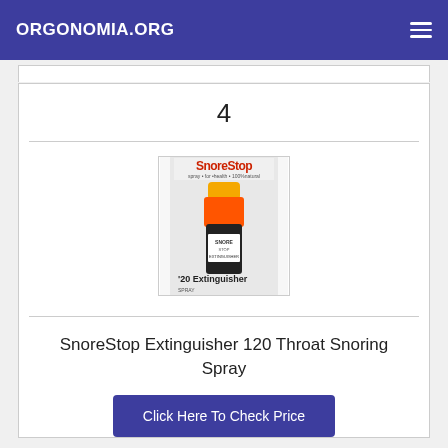ORGONOMIA.ORG
4
[Figure (photo): SnoreStop Extinguisher product bottle with orange/red spray top and black base labeled '120 Extinguisher']
SnoreStop Extinguisher 120 Throat Snoring Spray
Click Here To Check Price